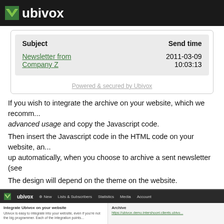ubivox
| Subject | Send time |
| --- | --- |
| Newsletter from Company Z | 2011-03-09 10:03:13 |
Powered & secured by Ubivox
If you wish to integrate the archive on your website, which we recommend, go to advanced usage and copy the Javascript code.
Then insert the Javascript code in the HTML code on your website, and the archive will show up automatically, when you choose to archive a sent newsletter (see
The design will depend on the theme on the website.
[Figure (screenshot): Screenshot of the Ubivox web application showing navigation bar with logo, New, Lists & Subscribers, Statistics, Media, Account items, and two-column layout with 'Integrate Ubivox on your website' and 'Archive' sections]